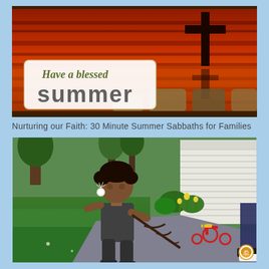[Figure (illustration): A summer-themed banner image with a sunset over water in warm red and orange tones, a dark cross silhouette on the right, and decorative earth-tone rectangles. In the lower-left, a white rounded rectangle contains the text 'Have a blessed summer' in olive/brown script and large gray sans-serif letters.]
Nurturing our Faith: 30 Minute Summer Sabbaths for Families
[Figure (photo): Outdoor photo of a young boy with curly hair in a dark t-shirt, holding a dandelion to his mouth and holding a stick or branch, standing on a driveway. Background shows green grass, trees, a white house, a red tricycle, and another person partially visible on the right.]